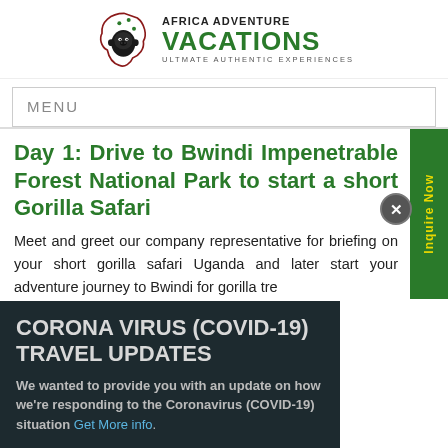[Figure (logo): Africa Adventure Vacations logo with gorilla and Africa map silhouette in red/dark red, company name in black and green, tagline 'ULTIMATE AUTHENTIC EXPERIENCES']
MENU
Day 1: Drive to Bwindi Impenetrable Forest National Park to start a short Gorilla Safari
Meet and greet our company representative for briefing on your short gorilla safari Uganda and later start your adventure journey to Bwindi for gorilla trekking
CORONA VIRUS (COVID-19) TRAVEL UPDATES
We wanted to provide you with an update on how we're responding to the Coronavirus (COVID-19) situation Get More info.